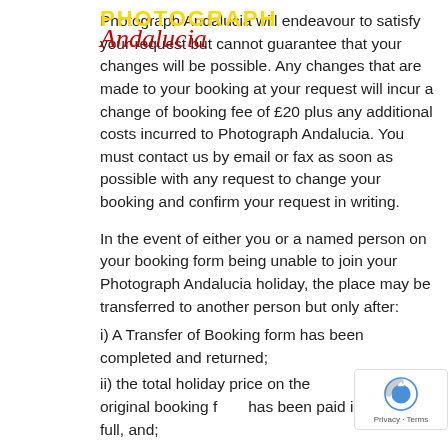[Figure (logo): Photograph Andalucia logo with yellow uppercase 'PHOTOGRAPH' text and red cursive 'Andalucia' script overlaid on the main text]
Photograph Andalucia will endeavour to satisfy your request but cannot guarantee that your changes will be possible. Any changes that are made to your booking at your request will incur a change of booking fee of £20 plus any additional costs incurred to Photograph Andalucia. You must contact us by email or fax as soon as possible with any request to change your booking and confirm your request in writing.
In the event of either you or a named person on your booking form being unable to join your Photograph Andalucia holiday, the place may be transferred to another person but only after:
i) A Transfer of Booking form has been completed and returned;
ii) the total holiday price on the original booking form has been paid in full, and;
iii) written permission of the transfer of place has